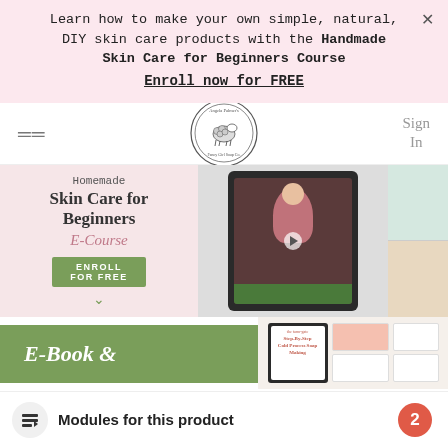Learn how to make your own simple, natural, DIY skin care products with the Handmade Skin Care for Beginners Course
Enroll now for FREE
[Figure (logo): Angela Palmer's Fancy Girl Soap Co. circular logo with sheep illustration]
[Figure (infographic): Homemade Skin Care for Beginners E-Course promotional banner with enroll for free button, instructor video thumbnail, and product photos]
[Figure (infographic): E-Book & product image banner with recipe cards and book mockups]
Modules for this product
2